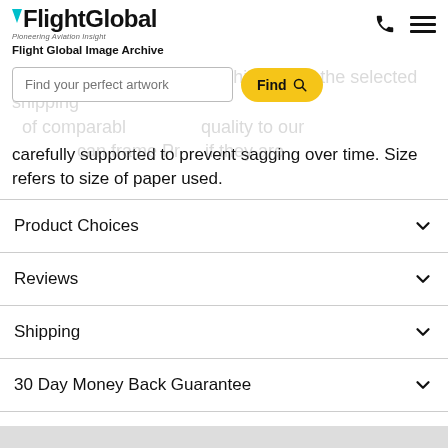FlightGlobal – Pioneering Aviation Insight
Flight Global Image Archive
a strong mailing tube, and shipped via the selected shipping of comparable quality to our can frame Prints if they are carefully supported to prevent sagging over time. Size refers to size of paper used.
Product Choices
Reviews
Shipping
30 Day Money Back Guarantee
Customers also viewed these